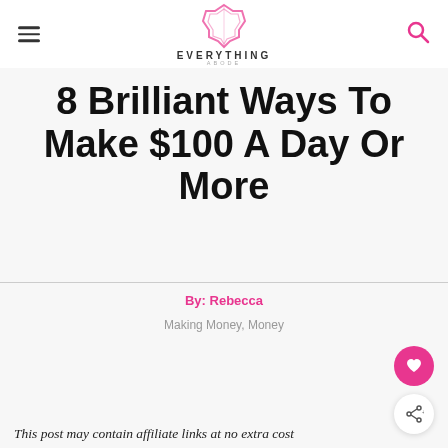EVERYTHING ABODE
8 Brilliant Ways To Make $100 A Day Or More
By: Rebecca
Making Money, Money
This post may contain affiliate links at no extra cost